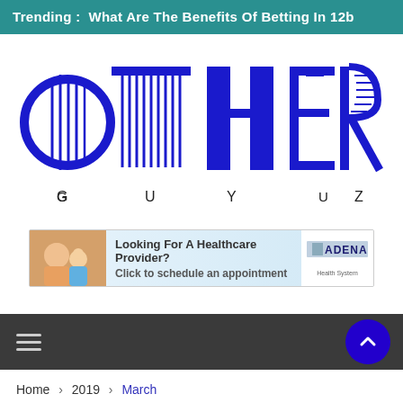Trending :  What Are The Benefits Of Betting In 12b
[Figure (logo): OTHER GUYZ logo — large stylized blue letters O, T, H, E, R with vertical line decorations inside, and below each letter the smaller text G, U, Y, Z in black]
[Figure (infographic): Advertisement banner for Adena Health System: 'Looking For A Healthcare Provider? Click to schedule an appointment' with Adena logo on right and a photo of mother and child on left]
Home > 2019 > March